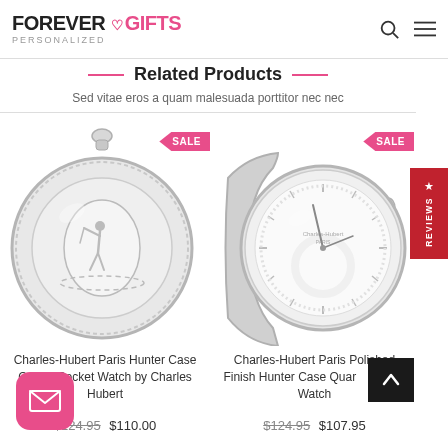FOREVER GIFTS PERSONALIZED
Related Products
Sed vitae eros a quam malesuada porttitor nec nec
[Figure (photo): Silver pocket watch with engraved case back showing a golfer silhouette, SALE badge in top right]
Charles-Hubert Paris Hunter Case Quartz Pocket Watch by Charles Hubert
$124.95   $110.00
[Figure (photo): Silver pocket watch open showing white dial with roman numerals, SALE badge in top right]
Charles-Hubert Paris Polished Finish Hunter Case Quartz Pocket Watch
$124.95   $107.95